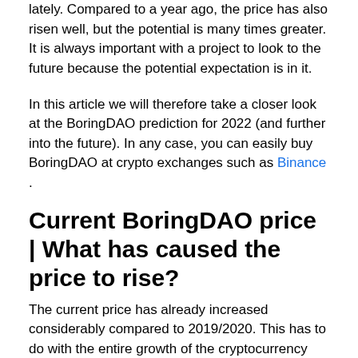lately. Compared to a year ago, the price has also risen well, but the potential is many times greater. It is always important with a project to look to the future because the potential expectation is in it.
In this article we will therefore take a closer look at the BoringDAO prediction for 2022 (and further into the future). In any case, you can easily buy BoringDAO at crypto exchanges such as Binance .
Current BoringDAO price | What has caused the price to rise?
The current price has already increased considerably compared to 2019/2020. This has to do with the entire growth of the cryptocurrency (and NFT) market. Since 2020, there has been more and more confidence in cryptocurrency as an alternative investment.
The current situation in the economy contributes to this